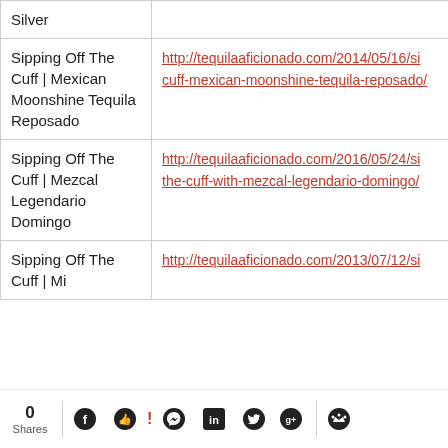| Title | URL |
| --- | --- |
| Silver |  |
| Sipping Off The Cuff | Mexican Moonshine Tequila Reposado | http://tequilaaficionado.com/2014/05/16/sipping-off-the-cuff-mexican-moonshine-tequila-reposado/ |
| Sipping Off The Cuff | Mezcal Legendario Domingo | http://tequilaaficionado.com/2016/05/24/sipping-off-the-cuff-with-mezcal-legendario-domingo/ |
| Sipping Off The Cuff | Mi... | http://tequilaaficionado.com/2013/07/12/si... |
0 Shares [social share buttons: Facebook, Like, Messenger, LinkedIn, Twitter, Google+, Crown]